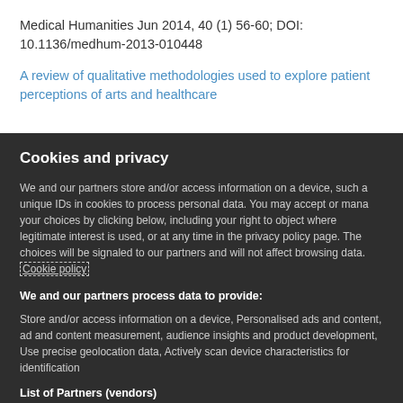Medical Humanities Jun 2014, 40 (1) 56-60; DOI: 10.1136/medhum-2013-010448
A review of qualitative methodologies used to explore patient perceptions of arts and healthcare
Cookies and privacy
We and our partners store and/or access information on a device, such as unique IDs in cookies to process personal data. You may accept or manage your choices by clicking below, including your right to object where legitimate interest is used, or at any time in the privacy policy page. These choices will be signaled to our partners and will not affect browsing data. Cookie policy
We and our partners process data to provide:
Store and/or access information on a device, Personalised ads and content, ad and content measurement, audience insights and product development, Use precise geolocation data, Actively scan device characteristics for identification
List of Partners (vendors)